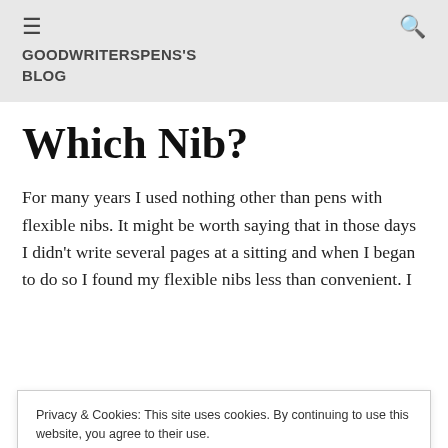GOODWRITERSPENS'S BLOG
Which Nib?
For many years I used nothing other than pens with flexible nibs. It might be worth saying that in those days I didn't write several pages at a sitting and when I began to do so I found my flexible nibs less than convenient. I
Privacy & Cookies: This site uses cookies. By continuing to use this website, you agree to their use. To find out more, including how to control cookies, see here: Cookie Policy
Close and accept